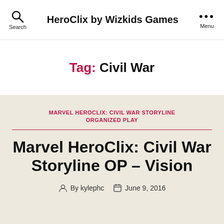HeroClix by Wizkids Games
Tag: Civil War
MARVEL HEROCLIX: CIVIL WAR STORYLINE ORGANIZED PLAY
Marvel HeroClix: Civil War Storyline OP – Vision
By kylephc  June 9, 2016